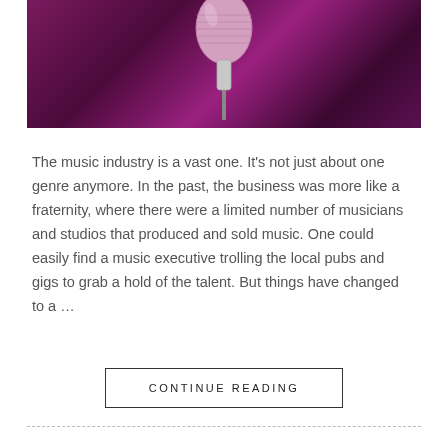[Figure (photo): A close-up photo of a vintage microphone on a stand against a purple/magenta stage-light background]
The music industry is a vast one. It's not just about one genre anymore. In the past, the business was more like a fraternity, where there were a limited number of musicians and studios that produced and sold music. One could easily find a music executive trolling the local pubs and gigs to grab a hold of the talent. But things have changed to a …
CONTINUE READING